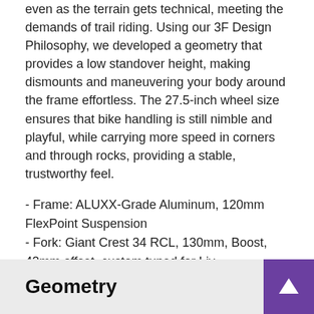even as the terrain gets technical, meeting the demands of trail riding. Using our 3F Design Philosophy, we developed a geometry that provides a low standover height, making dismounts and maneuvering your body around the frame effortless. The 27.5-inch wheel size ensures that bike handling is still nimble and playful, while carrying more speed in corners and through rocks, providing a stable, trustworthy feel.
- Frame: ALUXX-Grade Aluminum, 120mm FlexPoint Suspension
- Fork: Giant Crest 34 RCL, 130mm, Boost, 42mm offset, custom tuned for Liv
- Wheels: Giant AM 27.5, tubeless ready, sleeve-joint rim, 30mm inner width
- Shifters: Shimano Deore
- Crankset: Praxis Cadet Boost, 30T
Geometry